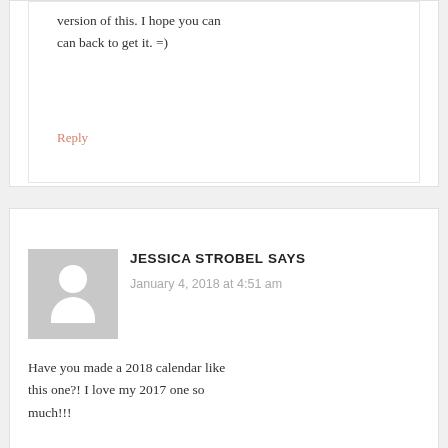version of this. I hope you can can back to get it. =)
Reply
JESSICA STROBEL SAYS
January 4, 2018 at 4:51 am
[Figure (illustration): Default user avatar placeholder - grey square with white silhouette of a person (circle head and rounded body)]
Have you made a 2018 calendar like this one?! I love my 2017 one so much!!!